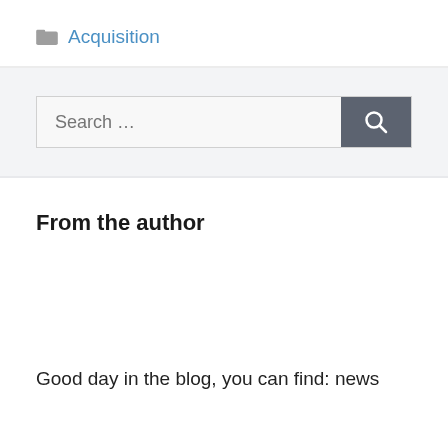Acquisition
[Figure (screenshot): Search bar with text 'Search ...' and a dark grey search button with magnifying glass icon]
From the author
Good day in the blog, you can find: news